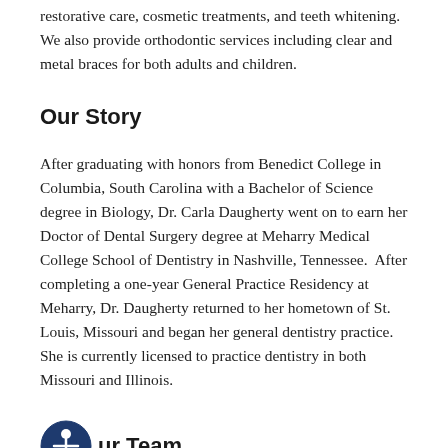restorative care, cosmetic treatments, and teeth whitening. We also provide orthodontic services including clear and metal braces for both adults and children.
Our Story
After graduating with honors from Benedict College in Columbia, South Carolina with a Bachelor of Science degree in Biology, Dr. Carla Daugherty went on to earn her Doctor of Dental Surgery degree at Meharry Medical College School of Dentistry in Nashville, Tennessee.  After completing a one-year General Practice Residency at Meharry, Dr. Daugherty returned to her hometown of St. Louis, Missouri and began her general dentistry practice. She is currently licensed to practice dentistry in both Missouri and Illinois.
Our Team
Dr. Daugherty and our certified team of expert dental